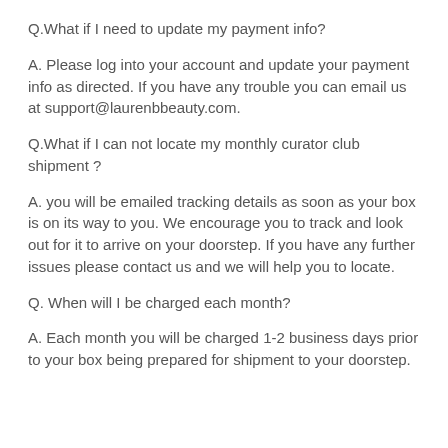Q.What if I need to update my payment info?
A. Please log into your account and update your payment info as directed. If you have any trouble you can email us at support@laurenbbeauty.com.
Q.What if I can not locate my monthly curator club shipment ?
A. you will be emailed tracking details as soon as your box is on its way to you. We encourage you to track and look out for it to arrive on your doorstep. If you have any further issues please contact us and we will help you to locate.
Q. When will I be charged each month?
A. Each month you will be charged 1-2 business days prior to your box being prepared for shipment to your doorstep.